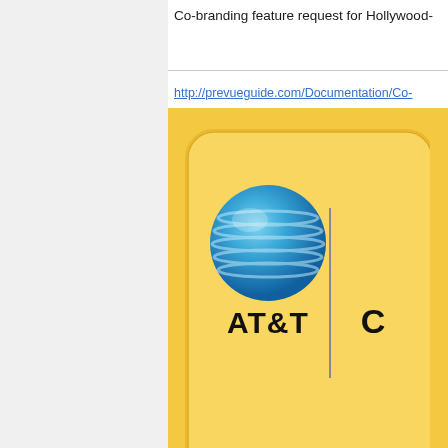Co-branding feature request for Hollywood-
http://prevueguide.com/Documentation/Co-
[Figure (screenshot): AT&T co-branding logo on golden/yellow background showing AT&T globe logo and AT&T text on left panel]
1
[Figure (screenshot): Comcast co-branding logo on golden/yellow background showing Comcast C logo]